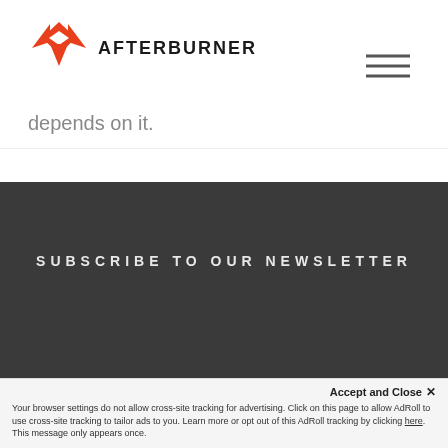[Figure (logo): Afterburner logo: orange geometric star/arrow icon with bold uppercase AFTERBURNER text]
[Figure (other): Hamburger menu icon (three horizontal lines)]
depends on it.
SUBSCRIBE TO OUR NEWSLETTER
First Name
Last Name
Accept and Close ×
Your browser settings do not allow cross-site tracking for advertising. Click on this page to allow AdRoll to use cross-site tracking to tailor ads to you. Learn more or opt out of this AdRoll tracking by clicking here. This message only appears once.